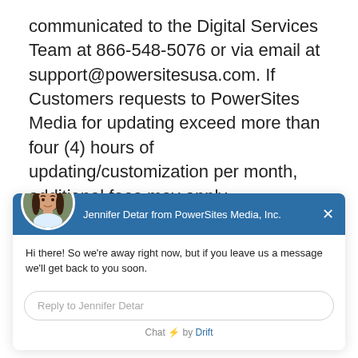communicated to the Digital Services Team at 866-548-5076 or via email at support@powersitesusa.com. If Customers requests to PowerSites Media for updating exceed more than four (4) hours of updating/customization per month, additional fees may apply.
[Figure (screenshot): Chat widget from Jennifer Detar at PowerSites Media, Inc. with avatar photo. Message: 'Hi there! So we're away right now, but if you leave us a message we'll get back to you soon.' Reply input box labeled 'Reply to Jennifer Detar'. Footer: 'Chat ⚡ by Drift'.]